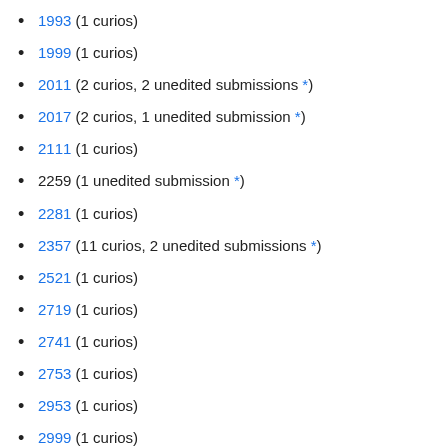1993 (1 curios)
1999 (1 curios)
2011 (2 curios, 2 unedited submissions *)
2017 (2 curios, 1 unedited submission *)
2111 (1 curios)
2259 (1 unedited submission *)
2281 (1 curios)
2357 (11 curios, 2 unedited submissions *)
2521 (1 curios)
2719 (1 curios)
2741 (1 curios)
2753 (1 curios)
2953 (1 curios)
2999 (1 curios)
3037 (1 unedited submission *)
3163 (1 curios)
3169 (1 curios)
3221 (1 curios)
3257 (2 curios)